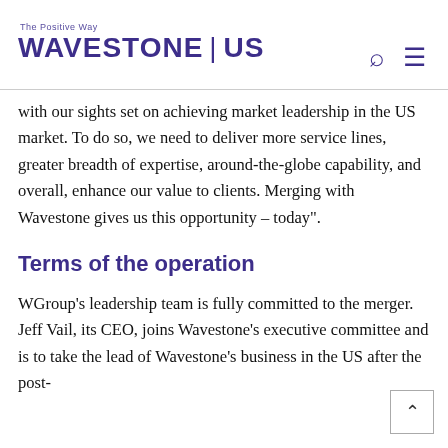The Positive Way | WAVESTONE | US
with our sights set on achieving market leadership in the US market. To do so, we need to deliver more service lines, greater breadth of expertise, around-the-globe capability, and overall, enhance our value to clients. Merging with Wavestone gives us this opportunity – today".
Terms of the operation
WGroup's leadership team is fully committed to the merger. Jeff Vail, its CEO, joins Wavestone's executive committee and is to take the lead of Wavestone's business in the US after the post-